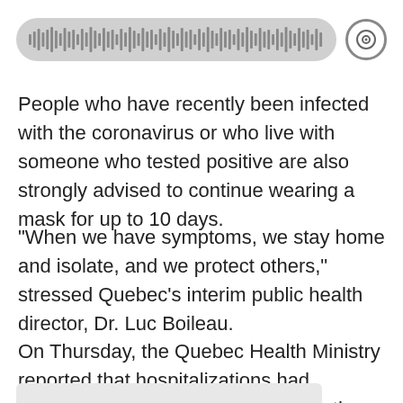[Figure (other): Audio waveform player bar with waveform visualization and circular play button]
People who have recently been infected with the coronavirus or who live with someone who tested positive are also strongly advised to continue wearing a mask for up to 10 days.
"When we have symptoms, we stay home and isolate, and we protect others," stressed Quebec's interim public health director, Dr. Luc Boileau.
On Thursday, the Quebec Health Ministry reported that hospitalizations had dropped to 1,821, with 60 people in the ICU.